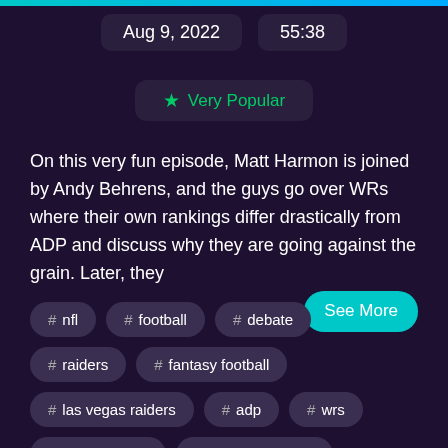Aug 9, 2022   55:38
★ Very Popular
On this very fun episode, Matt Harmon is joined by Andy Behrens, and the guys go over WRs where their own rankings differ drastically from ADP and discuss why they are going against the grain. Later, they
See More
# nfl
# football
# debate
# raiders
# fantasy football
# las vegas raiders
# adp
# wrs
# yahoo sports
josh mcdaniels